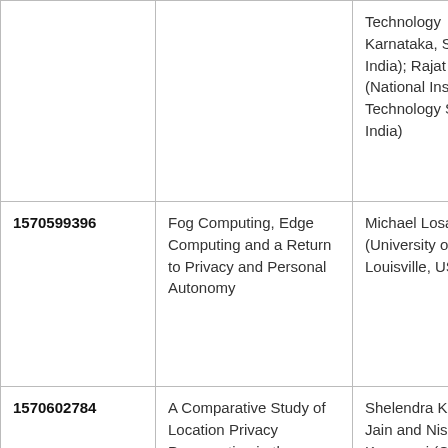| ID | Title | Authors |
| --- | --- | --- |
|  |  | Technology Karnataka, Surathkal, India); Rajat Jha (National Institute of Technology Surathal, India) |
| 1570599396 | Fog Computing, Edge Computing and a Return to Privacy and Personal Autonomy | Michael Losavio (University of Louisville, USA) |
| 1570602784 | A Comparative Study of Location Privacy Preservation in the Internet of Things | Shelendra Kumar Jain and Nishtha Kesswani (Central University of Rajasthan, India) |
|  |  |  |